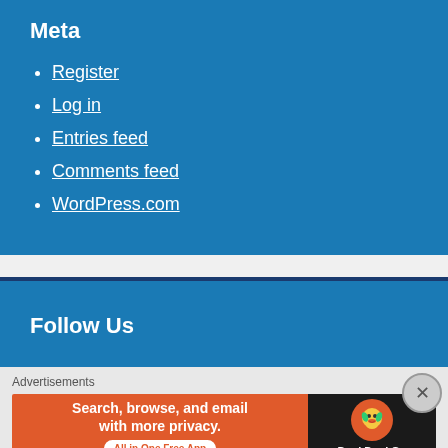Meta
Register
Log in
Entries feed
Comments feed
WordPress.com
Follow Us
Advertisements
[Figure (infographic): DuckDuckGo advertisement banner: 'Search, browse, and email with more privacy. All in One Free App' with DuckDuckGo logo on dark background]